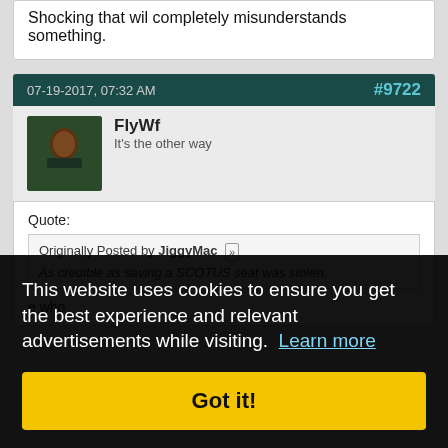Shocking that wil completely misunderstands something.
07-19-2017, 07:32 AM
#9722
FlyWf
It's the other way
Quote:
Originally Posted by JiggyMac
As credible as saving a SCOTUS seat was stolen.
This website uses cookies to ensure you get the best experience and relevant advertisements while visiting. Learn more
Got it!
e who